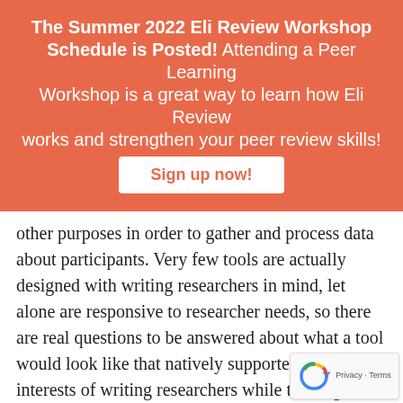[Figure (infographic): Orange banner with text: 'The Summer 2022 Eli Review Workshop Schedule is Posted! Attending a Peer Learning Workshop is a great way to learn how Eli Review works and strengthen your peer review skills!' and a white 'Sign up now!' button.]
other purposes in order to gather and process data about participants. Very few tools are actually designed with writing researchers in mind, let alone are responsive to researcher needs, so there are real questions to be answered about what a tool would look like that natively supported the interests of writing researchers while treating student humanely as participants in that research.
Eli Review, invented at Michigan State University, is one tool where these interests can be played out in the wild. Designed and maintained by composition and rhetoric scholars, Eli Review has added and evolved features specifically in response to researcher needs and continues...